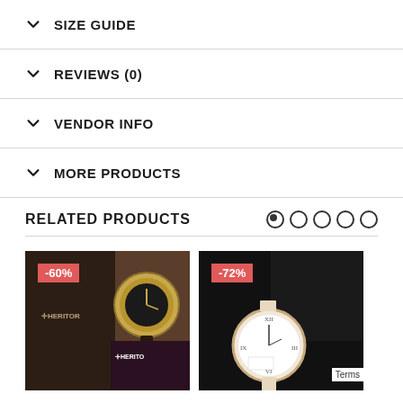SIZE GUIDE
REVIEWS (0)
VENDOR INFO
MORE PRODUCTS
RELATED PRODUCTS
[Figure (photo): Product photo of a Heritor watch with gold face and black leather strap, shown with Heritor branded box. Discount badge showing -60%.]
[Figure (photo): Product photo of a dress watch with white face and roman numerals on light strap, shown with dark box. Discount badge showing -72%.]